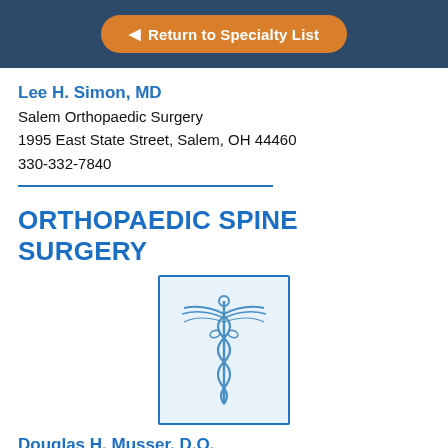Return to Specialty List
Lee H. Simon, MD
Salem Orthopaedic Surgery
1995 East State Street, Salem, OH 44460
330-332-7840
ORTHOPAEDIC SPINE SURGERY
[Figure (logo): Caduceus medical symbol in blue on light blue background inside a blue-bordered rectangle]
Douglas H. Musser, D.O.
Youngstown Orthopaedic Associates LLC
4400 Boardman-Canfield Road, Boardman, OH 44512